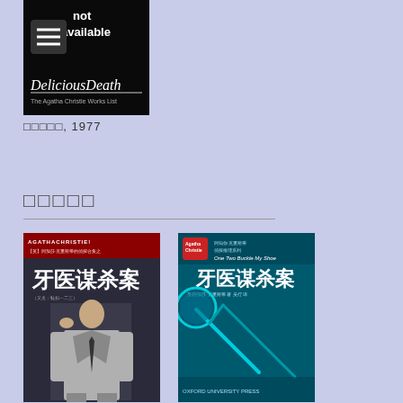[Figure (photo): Book cover image showing 'DeliciousDeath - The Agatha Christie Works List' website screenshot with a dark background, navigation menu icon, and 'not available' text at top.]
□□□□□, 1977
□□□□□
[Figure (photo): Chinese edition book cover of Agatha Christie's 'One Two Buckle My Shoe' (牙医谋杀案) showing a man in a suit sitting in a chair, with red banner at top containing AGATHA CHRISTIE text.]
[Figure (photo): Another Chinese edition book cover of 牙医谋杀案 (One Two Buckle My Shoe) with teal/blue background featuring dental instruments (mirror and probe).]